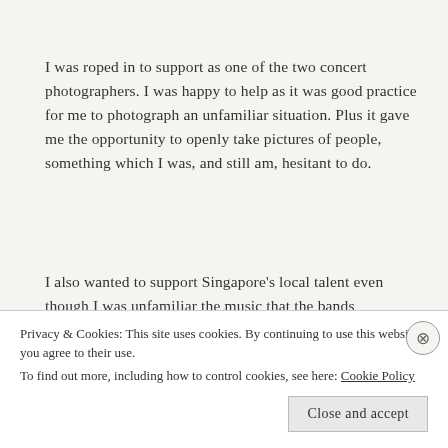I was roped in to support as one of the two concert photographers. I was happy to help as it was good practice for me to photograph an unfamiliar situation. Plus it gave me the opportunity to openly take pictures of people, something which I was, and still am, hesitant to do.
I also wanted to support Singapore's local talent even though I was unfamiliar the music that the bands performed. Through some last shift scrambles (which...
Privacy & Cookies: This site uses cookies. By continuing to use this website, you agree to their use.
To find out more, including how to control cookies, see here: Cookie Policy
Close and accept